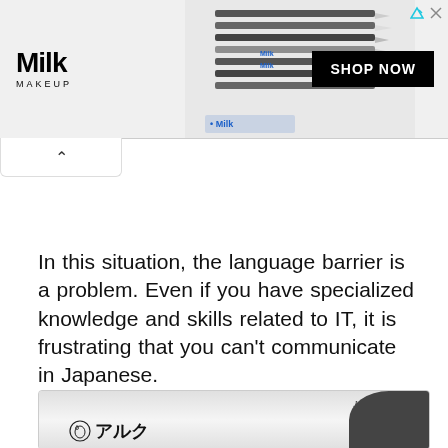[Figure (screenshot): Milk Makeup advertisement banner with logo on left, product pencils in center, and SHOP NOW button on right]
In this situation, the language barrier is a problem. Even if you have specialized knowledge and skills related to IT, it is frustrating that you can't communicate in Japanese.
[Figure (photo): Book cover image showing 'Japan, My Love' header text and ALC logo with Japanese text アルク at bottom left, dark circular shape at bottom right]